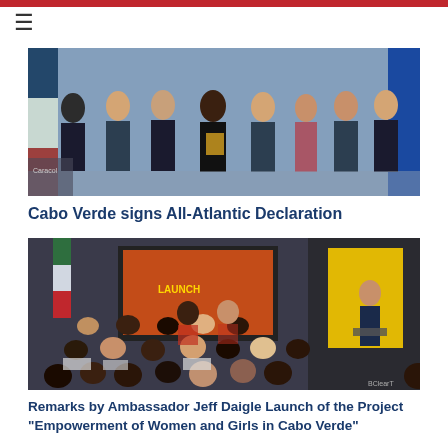[Figure (photo): Group photo of officials standing in front of flags, one person holding a document/award, formal setting with blue backdrop]
Cabo Verde signs All-Atlantic Declaration
[Figure (photo): Conference room with audience seated viewed from behind, speaker at podium on right, presentation screen in background, flags visible on left]
Remarks by Ambassador Jeff Daigle Launch of the Project "Empowerment of Women and Girls in Cabo Verde"